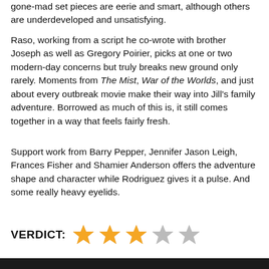gone-mad set pieces are eerie and smart, although others are underdeveloped and unsatisfying.
Raso, working from a script he co-wrote with brother Joseph as well as Gregory Poirier, picks at one or two modern-day concerns but truly breaks new ground only rarely. Moments from The Mist, War of the Worlds, and just about every outbreak movie make their way into Jill's family adventure. Borrowed as much of this is, it still comes together in a way that feels fairly fresh.
Support work from Barry Pepper, Jennifer Jason Leigh, Frances Fisher and Shamier Anderson offers the adventure shape and character while Rodriguez gives it a pulse. And some really heavy eyelids.
VERDICT: ★★★☆☆
[Figure (photo): Dark bottom strip of an image, partially visible at the bottom of the page]